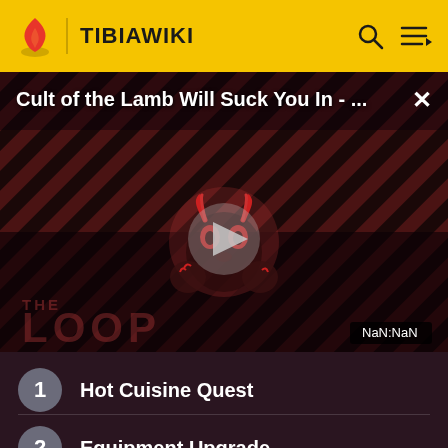TIBIAWIKI
[Figure (screenshot): Video thumbnail overlay showing 'Cult of the Lamb Will Suck You In - ...' with a play button, THE LOOP branding, diagonal red/dark stripes background, and NaN:NaN timestamp]
1  Hot Cuisine Quest
2  Equipment Upgrade